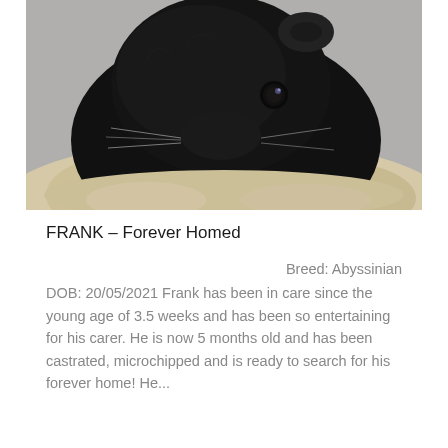[Figure (photo): Close-up photo of a black Abyssinian guinea pig with shiny fur and bright eye, resting on a light-colored fluffy surface against a grey background.]
FRANK – Forever Homed
Breed: Abyssinian DOB: 20/05/2021 Frank has been in care since the young age of 3.5 weeks and has been so entertaining for his carer. He is now 5 months old and has been castrated, microchipped and is ready to search for his forever home! He...